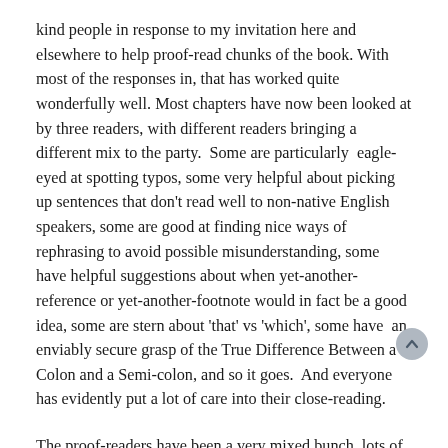kind people in response to my invitation here and elsewhere to help proof-read chunks of the book. With most of the responses in, that has worked quite wonderfully well. Most chapters have now been looked at by three readers, with different readers bringing a different mix to the party. Some are particularly eagle-eyed at spotting typos, some very helpful about picking up sentences that don't read well to non-native English speakers, some are good at finding nice ways of rephrasing to avoid possible misunderstanding, some have helpful suggestions about when yet-another-reference or yet-another-footnote would in fact be a good idea, some are stern about 'that' vs 'which', some have an enviably secure grasp of the True Difference Between a Colon and a Semi-colon, and so it goes. And everyone has evidently put a lot of care into their close-reading.
The proof-readers have been a very mixed bunch, lots of grad students of course, but also senior undergraduates, established professors, and a sprinkling of 'amateurs' who have done some logic in the past and are now out of